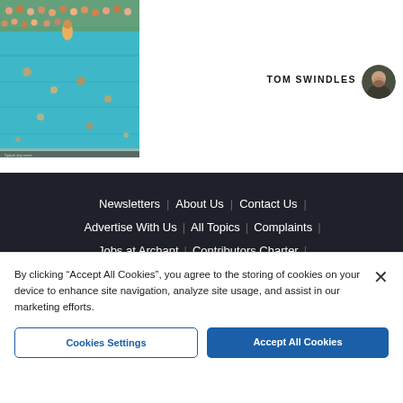[Figure (photo): Photo of a swimming pool with many people, someone jumping in, aerial/elevated view, bright teal water]
TOM SWINDLES
[Figure (photo): Circular avatar photo of Tom Swindles, a man with dark beard]
Newsletters | About Us | Contact Us |
Advertise With Us | All Topics | Complaints |
Jobs at Archant | Contributors Charter |
Cookie Policy | Privacy Policy |
Terms & Conditions | Archant | Manage Cookies
[Figure (logo): IPSO Regulated badge - circular logo with 'ipso.' text and 'Regulated' banner]
By clicking "Accept All Cookies", you agree to the storing of cookies on your device to enhance site navigation, analyze site usage, and assist in our marketing efforts.
Cookies Settings
Accept All Cookies